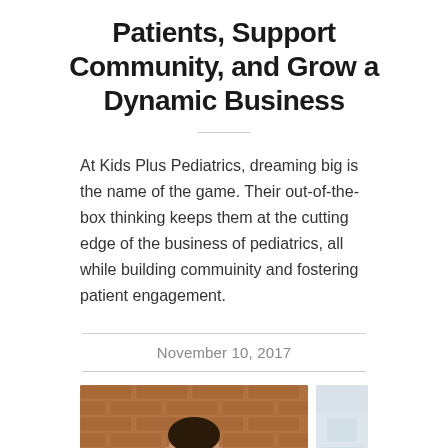Patients, Support Community, and Grow a Dynamic Business
At Kids Plus Pediatrics, dreaming big is the name of the game. Their out-of-the-box thinking keeps them at the cutting edge of the business of pediatrics, all while building commuinity and fostering patient engagement.
November 10, 2017
[Figure (photo): Photo of a man in a dark jacket against a brick wall background, and a second lighter image beside it.]